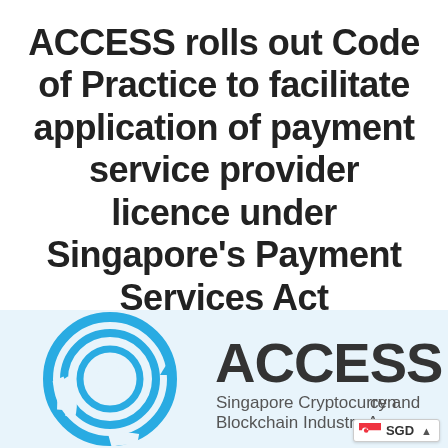ACCESS rolls out Code of Practice to facilitate application of payment service provider licence under Singapore's Payment Services Act
by ACCESS Singapore   August 13, 2020
[Figure (logo): ACCESS Singapore Cryptocurrency and Blockchain Industry Association logo — blue circular gear/ring icon on the left, and bold dark text 'ACCESS' with subtitle 'Singapore Cryptocurrency and Blockchain Industry Ac...' on the right, on a light blue background.]